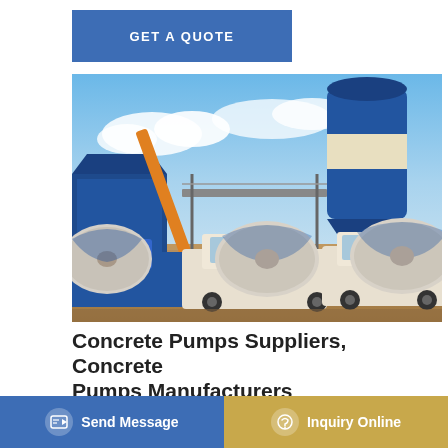[Figure (other): GET A QUOTE blue button at top]
[Figure (photo): Photo of concrete batching plant with blue silos and several concrete mixer trucks in foreground on a construction site]
Concrete Pumps Suppliers, Concrete Pumps Manufacturers
CONCRETE PUMPS TRAILER DIESEL ENGINE
CONCRETE PUMP BIG POWER... Main Products: Concrete... 2020 New Designed Hot Sale Mini Concrete Pump. FOB
[Figure (other): Send Message blue button with document icon at bottom left]
[Figure (other): Inquiry Online gold/yellow button with headset icon at bottom right]